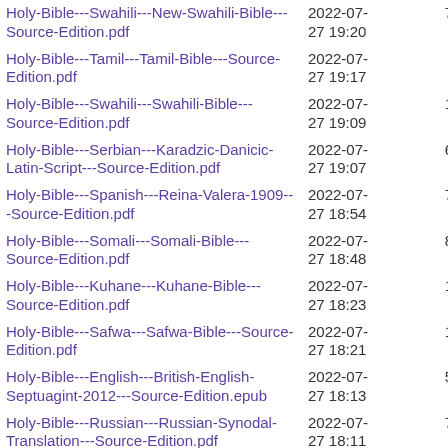| Filename | Date | Size |
| --- | --- | --- |
| Holy-Bible---Swahili---New-Swahili-Bible---Source-Edition.pdf | 2022-07-27 19:20 | 7.2M |
| Holy-Bible---Tamil---Tamil-Bible---Source-Edition.pdf | 2022-07-27 19:17 | 82K |
| Holy-Bible---Swahili---Swahili-Bible---Source-Edition.pdf | 2022-07-27 19:09 | 1.8M |
| Holy-Bible---Serbian---Karadzic-Danicic-Latin-Script---Source-Edition.pdf | 2022-07-27 19:07 | 6.7M |
| Holy-Bible---Spanish---Reina-Valera-1909---Source-Edition.pdf | 2022-07-27 18:54 | 7.7M |
| Holy-Bible---Somali---Somali-Bible---Source-Edition.pdf | 2022-07-27 18:48 | 8.4M |
| Holy-Bible---Kuhane---Kuhane-Bible---Source-Edition.pdf | 2022-07-27 18:23 | 1.8M |
| Holy-Bible---Safwa---Safwa-Bible---Source-Edition.pdf | 2022-07-27 18:21 | 1.6M |
| Holy-Bible---English---British-English-Septuagint-2012---Source-Edition.epub | 2022-07-27 18:13 | 5.1M |
| Holy-Bible---Russian---Russian-Synodal-Translation---Source-Edition.pdf | 2022-07-27 18:11 | 7.0M |
| Holy-Bible---Pohnpeian---Pohnpeian-NT-Psalms-New-Alphabet---Source-Edition.epub | 2022-07-27 18:07 | 934K |
| Holy-Bible---Pohnpeian---Pohnpeian-NT- |  |  |